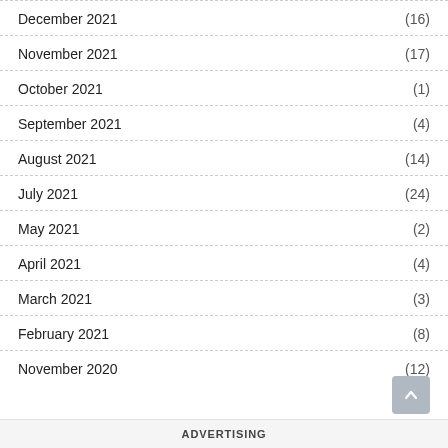December 2021 (16)
November 2021 (17)
October 2021 (1)
September 2021 (4)
August 2021 (14)
July 2021 (24)
May 2021 (2)
April 2021 (4)
March 2021 (3)
February 2021 (8)
November 2020 (12)
ADVERTISING